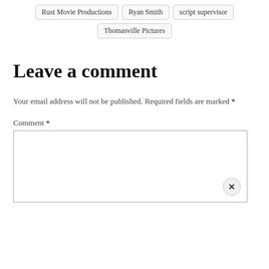Rust Movie Productions
Ryan Smith
script supervisor
Thomasville Pictures
Leave a comment
Your email address will not be published. Required fields are marked *
Comment *